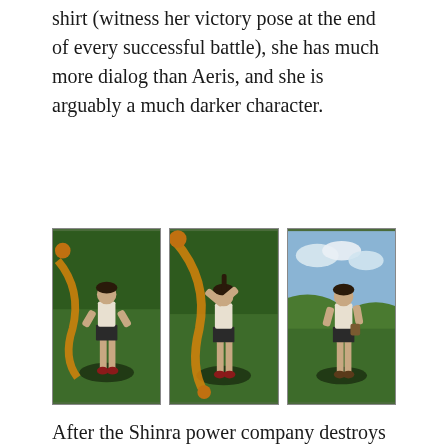shirt (witness her victory pose at the end of every successful battle), she has much more dialog than Aeris, and she is arguably a much darker character.
[Figure (photo): Three side-by-side screenshots of a female video game character (Tifa from Final Fantasy VII) in different victory poses, standing on green grassy terrain with a dark circular shadow beneath her feet.]
After the Shinra power company destroys her village and covers up the operation, she moves to the city of the company's global headquarters, where she opens a bar that will serve as a base for a terrorist resistance movement. Throughout the game she is